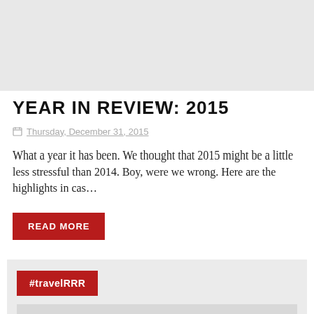[Figure (photo): Gray placeholder image area at the top of the page]
YEAR IN REVIEW: 2015
Thursday, December 31, 2015
What a year it has been. We thought that 2015 might be a little less stressful than 2014. Boy, were we wrong. Here are the highlights in cas…
READ MORE
[Figure (other): Light gray card section with #travelRRR tag button and image placeholder area below]